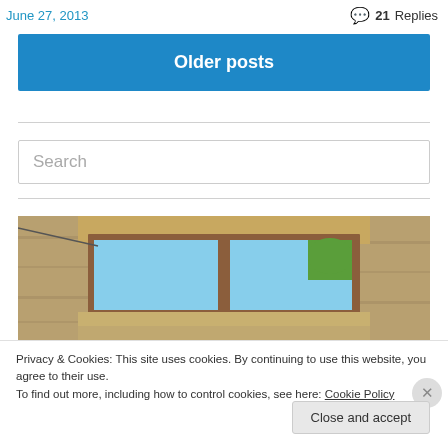June 27, 2013
21 Replies
Older posts
Search
[Figure (photo): Stone building exterior with two rectangular windows showing blue sky and green tree, wooden window frames]
Privacy & Cookies: This site uses cookies. By continuing to use this website, you agree to their use.
To find out more, including how to control cookies, see here: Cookie Policy